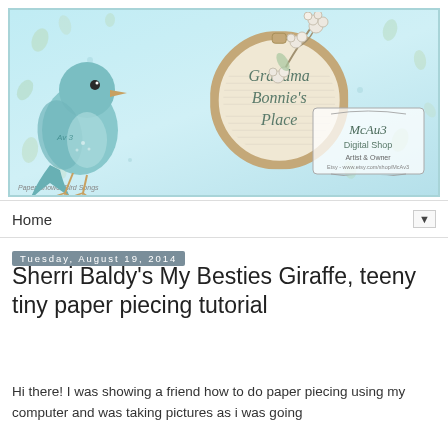[Figure (illustration): Blog header banner for 'Grandma Bonnie's Place' featuring a teal/mint colored bird on the left, a circular embroidery hoop with the blog name in italic script, cotton branch decoration, and a McAu3 Digital Shop stamp in the bottom right. Light blue/teal background with leaf and dot decorations.]
Home ▼
Tuesday, August 19, 2014
Sherri Baldy's My Besties Giraffe, teeny tiny paper piecing tutorial
Hi there!  I was showing a friend how to do paper piecing using my computer and was taking pictures as i was going